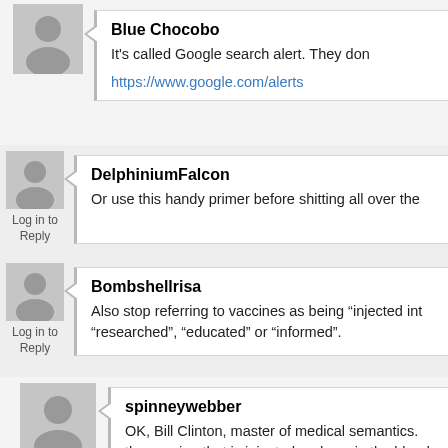Blue Chocobo
It's called Google search alert. They don
https://www.google.com/alerts
DelphiniumFalcon
Or use this handy primer before shitting all over the
Bombshellrisa
Also stop referring to vaccines as being "injected into
"researched", "educated" or "informed".
spinneywebber
OK, Bill Clinton, master of medical semantics.
the vaccine that is injected ends up in the blood